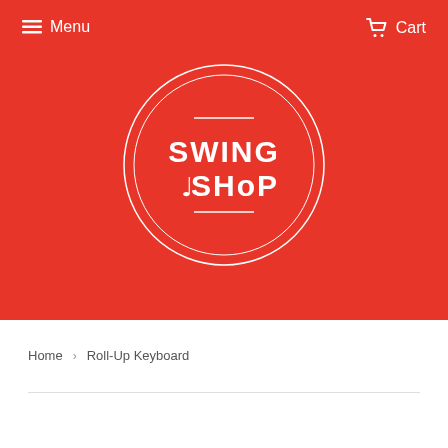Menu  Cart
[Figure (logo): Swing Shop circular logo with treble clef, white on red background]
Home › Roll-Up Keyboard